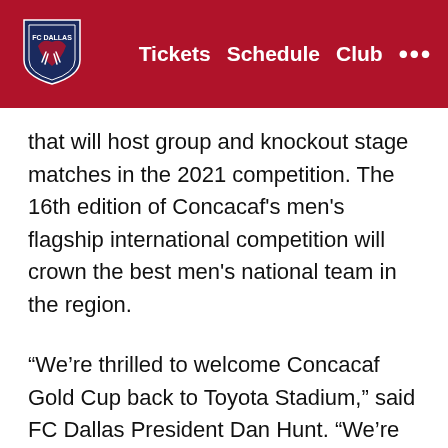FC Dallas — Tickets  Schedule  Club  •••
that will host group and knockout stage matches in the 2021 competition. The 16th edition of Concacaf's men's flagship international competition will crown the best men's national team in the region.
“We’re thrilled to welcome Concacaf Gold Cup back to Toyota Stadium,” said FC Dallas President Dan Hunt. “We’re looking forward to providing a great experience for the national teams that participate and fans who visit.”
Toyota Stadium hosted Concacaf Gold Cup matches in 2019, 2017 and 2015 which saw the U.S. defeat Honduras, 2-1 in front of a sell-out crowd. Native Texan…